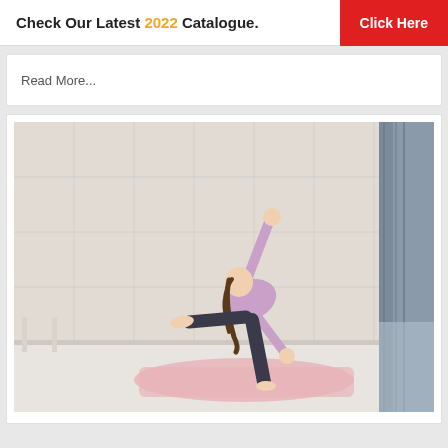Check Our Latest 2022 Catalogue. Click Here
Read More...
[Figure (photo): Woman performing a yoga pose (half moon / warrior balance) on a pink yoga mat in a bright white-paneled room with grey curtains. She wears a lavender long-sleeve top and dark patterned leggings, with one arm raised and one leg extended, leaning forward.]